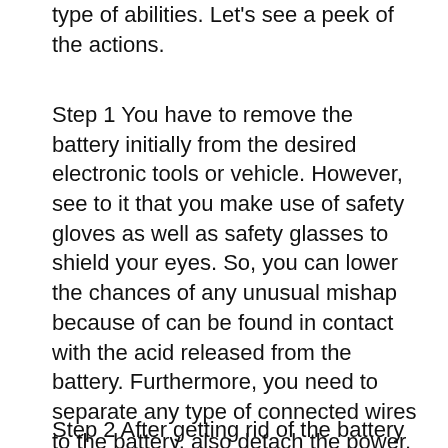type of abilities. Let's see a peek of the actions.
Step 1 You have to remove the battery initially from the desired electronic tools or vehicle. However, see to it that you make use of safety gloves as well as safety glasses to shield your eyes. So, you can lower the chances of any unusual mishap because of can be found in contact with the acid released from the battery. Furthermore, you need to separate any type of connected wires to the battery, also detach the power. These will certainly make sure security and also stay clear of shocks.
Step 2 After getting rid of the battery from